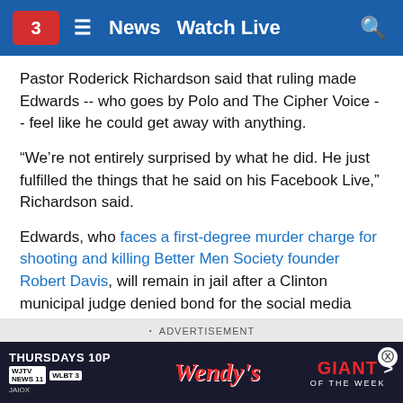News  Watch Live
Pastor Roderick Richardson said that ruling made Edwards -- who goes by Polo and The Cipher Voice -- feel like he could get away with anything.
“We’re not entirely surprised by what he did. He just fulfilled the things that he said on his Facebook Live,” Richardson said.
Edwards, who faces a first-degree murder charge for shooting and killing Better Men Society founder Robert Davis, will remain in jail after a Clinton municipal judge denied bond for the social media personality.
[Figure (screenshot): Advertisement banner for Wendy's Giant of the Week, shown on a dark background with TV station logos (WJTV News 11, WLBT 3) and Thursdays 10P text.]